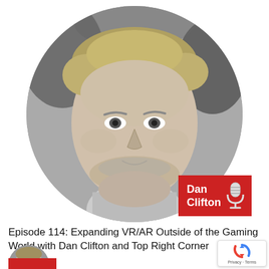[Figure (photo): Black and white circular portrait photo of Dan Clifton, a young man with light hair and stubble beard, with a red name badge overlay reading 'Dan Clifton' with a microphone icon]
Episode 114: Expanding VR/AR Outside of the Gaming World with Dan Clifton and Top Right Corner
[Figure (photo): Partial view of a second episode thumbnail at the bottom of the page, showing the top of a circular black and white portrait photo with a red bar below it]
Privacy · Terms